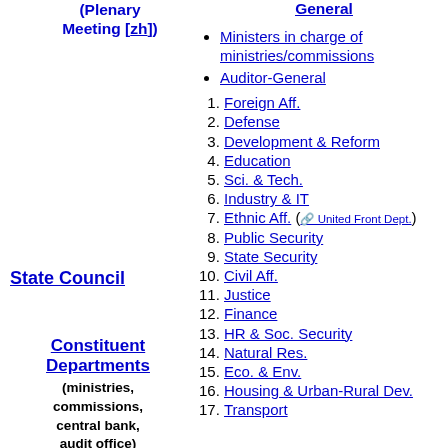(Plenary Meeting [zh])
Secretary-General
Ministers in charge of ministries/commissions
Auditor-General
1. Foreign Aff.
2. Defense
3. Development & Reform
4. Education
5. Sci. & Tech.
6. Industry & IT
7. Ethnic Aff. (United Front Dept.)
8. Public Security
9. State Security
10. Civil Aff.
11. Justice
12. Finance
13. HR & Soc. Security
14. Natural Res.
15. Eco. & Env.
16. Housing & Urban-Rural Dev.
17. Transport
State Council
Constituent Departments (ministries, commissions, central bank, audit office)